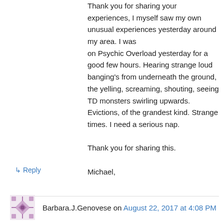Thank you for sharing your experiences, I myself saw my own unusual experiences yesterday around my area. I was on Psychic Overload yesterday for a good few hours. Hearing strange loud banging's from underneath the ground, the yelling, screaming, shouting, seeing TD monsters swirling upwards. Evictions, of the grandest kind. Strange times. I need a serious nap.

Thank you for sharing this.

Michael,
↳ Reply
Barbara.J.Genovese on August 22, 2017 at 4:08 PM